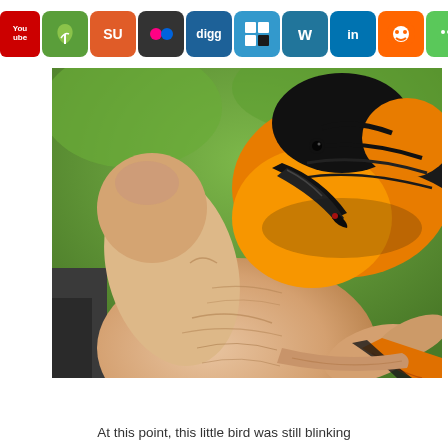[Figure (other): Row of social media sharing icons including YouTube, nature/plant icon, StumbleUpon, Flickr, Digg, Delicious, WordPress, LinkedIn, Reddit, iMessage, Facebook, Twitter, and RSS feed]
[Figure (photo): Close-up photograph of a small orange and black bird (likely an oriole) being held in a person's hand. The bird's beak is pointed down toward the hand. The bird has vivid orange and black plumage. The hand shows skin texture and wrinkles clearly.]
At this point, this little bird was still blinking